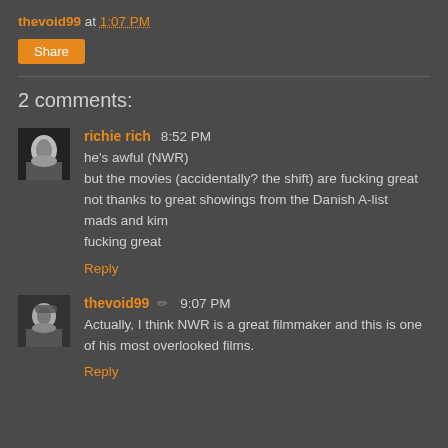thevoid99 at 1:07 PM
Share
2 comments:
richie rich 8:52 PM
he's awful (NWR)
but the movies (accidentally? the shift) are fucking great
not thanks to great showings from the Danish A-list
mads and kim
fucking great
Reply
thevoid99 ✏ 9:07 PM
Actually, I think NWR is a great filmmaker and this is one of his most overlooked films.
Reply